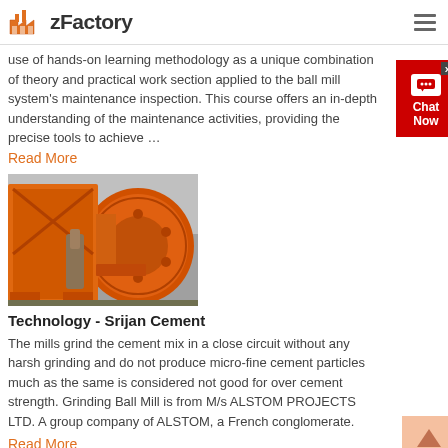zFactory
use of hands-on learning methodology as a unique combination of theory and practical work section applied to the ball mill system's maintenance inspection. This course offers an in-depth understanding of the maintenance activities, providing the precise tools to achieve …
Read More
[Figure (photo): Orange industrial impact crusher / ball mill machine photographed outdoors]
Technology - Srijan Cement
The mills grind the cement mix in a close circuit without any harsh grinding and do not produce micro-fine cement particles much as the same is considered not good for over cement strength. Grinding Ball Mill is from M/s ALSTOM PROJECTS LTD. A group company of ALSTOM, a French conglomerate.
Read More